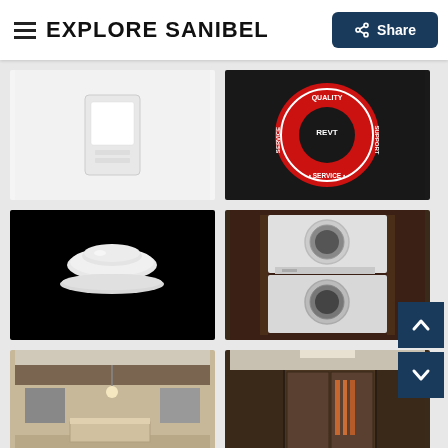EXPLORE SANIBEL | Share
[Figure (photo): White thermostat or control panel device on light background]
[Figure (photo): Red and black circular service/quality badge logo with text 'QUALITY SERVICE SUPPORT']
[Figure (photo): White round RV vent/fan cover on black background]
[Figure (photo): Stacked washer and dryer unit in wood-paneled cabinet]
[Figure (photo): RV kitchen interior with island, cabinetry, appliances and hardwood-style flooring]
[Figure (photo): RV bedroom/closet interior with dark wood cabinetry, wardrobe and clothing hanging]